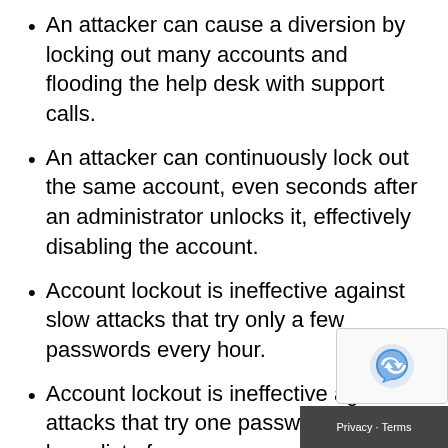An attacker can cause a diversion by locking out many accounts and flooding the help desk with support calls.
An attacker can continuously lock out the same account, even seconds after an administrator unlocks it, effectively disabling the account.
Account lockout is ineffective against slow attacks that try only a few passwords every hour.
Account lockout is ineffective against attacks that try one password against a large list of usernames.
Account lockout is ineffective if the attacker is using a username/password combo list and guesses correctly on the first couple of attem...